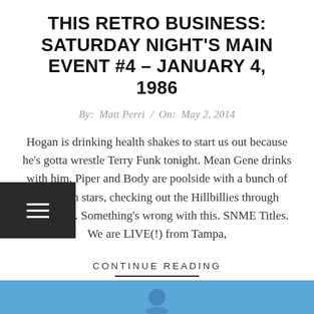THIS RETRO BUSINESS: SATURDAY NIGHT'S MAIN EVENT #4 – JANUARY 4, 1986
By:  Matt Perri  /  On:  May 2, 2014
Hogan is drinking health shakes to start us out because he's gotta wrestle Terry Funk tonight. Mean Gene drinks with him. Piper and Body are poolside with a bunch of 70's porn stars, checking out the Hillbillies through binoculars. Something's wrong with this. SNME Titles. We are LIVE(!) from Tampa,
CONTINUE READING
[Figure (other): Bottom blue bar with partial icon visible]